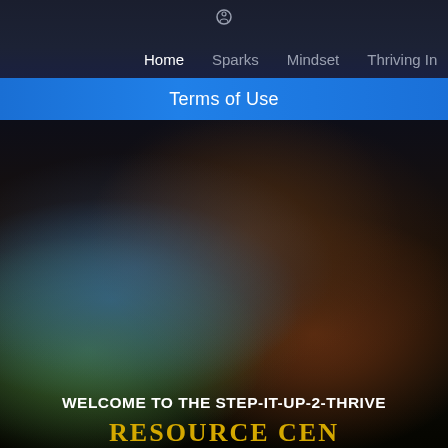Home  Sparks  Mindset  Thriving In
Terms of Use
[Figure (photo): Dark blurred background photo showing a dimly lit scene with blue, green, and warm brown tones, suggesting an outdoor or atmospheric environment at low light.]
WELCOME TO THE STEP-IT-UP-2-THRIVE
RESOURCE CEN